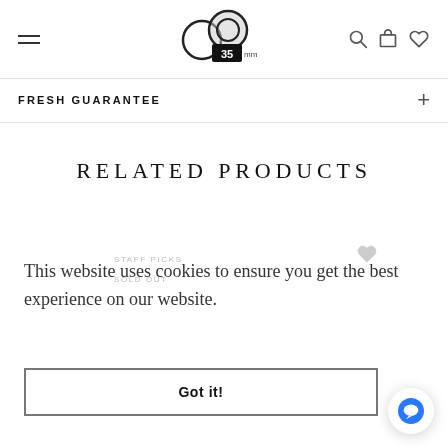35mm store header with hamburger menu, logo, search, cart, and heart icons
FRESH GUARANTEE
RELATED PRODUCTS
STAFF PICKS
SOLD OUT
This website uses cookies to ensure you get the best experience on our website.
Got it!